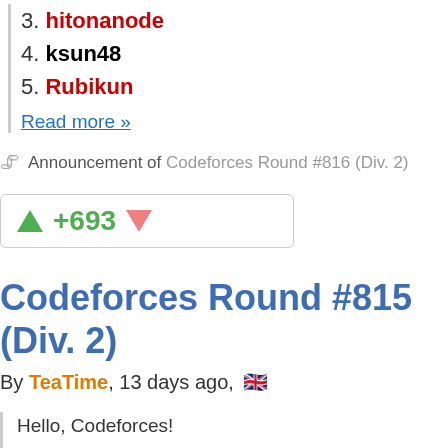3. hitonanode
4. ksun48
5. Rubikun
Read more »
Announcement of Codeforces Round #816 (Div. 2)
+693
Codeforces Round #815 (Div. 2)
By TeaTime, 13 days ago,
Hello, Codeforces!
We are proud to finally invite you to participate in Codeforces Round #815 (Div. 2) which will take place on August 18, 2022 at 13:35 UTC. You will be given 5 problems and 2 hours to solve them. We greatly encourage you to read all the problems.